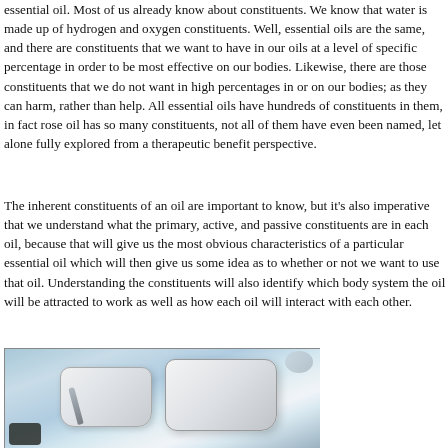essential oil. Most of us already know about constituents. We know that water is made up of hydrogen and oxygen constituents. Well, essential oils are the same, and there are constituents that we want to have in our oils at a level of specific percentage in order to be most effective on our bodies. Likewise, there are those constituents that we do not want in high percentages in or on our bodies; as they can harm, rather than help. All essential oils have hundreds of constituents in them, in fact rose oil has so many constituents, not all of them have even been named, let alone fully explored from a therapeutic benefit perspective.
The inherent constituents of an oil are important to know, but it's also imperative that we understand what the primary, active, and passive constituents are in each oil, because that will give us the most obvious characteristics of a particular essential oil which will then give us some idea as to whether or not we want to use that oil. Understanding the constituents will also identify which body system the oil will be attracted to work as well as how each oil will interact with each other.
[Figure (photo): Photograph showing white ceramic soap dishes or trays on a light blue/teal surface, with a spoon and other bathroom/kitchen items visible.]